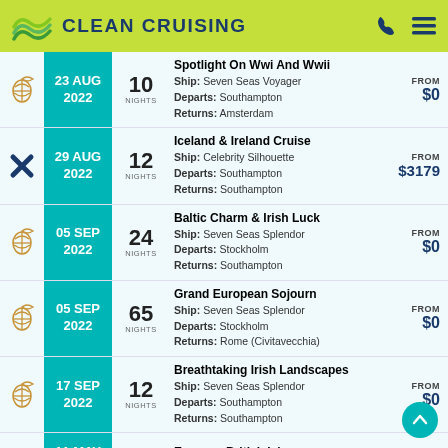CLEAN CRUISING
23 AUG 2022 | 10 Nights | Spotlight On Wwi And Wwii | Ship: Seven Seas Voyager | Departs: Southampton | Returns: Amsterdam | FROM $0
29 AUG 2022 | 12 Nights | Iceland & Ireland Cruise | Ship: Celebrity Silhouette | Departs: Southampton | Returns: Southampton | FROM $3179
05 SEP 2022 | 24 Nights | Baltic Charm & Irish Luck | Ship: Seven Seas Splendor | Departs: Stockholm | Returns: Southampton | FROM $0
05 SEP 2022 | 65 Nights | Grand European Sojourn | Ship: Seven Seas Splendor | Departs: Stockholm | Returns: Rome (Civitavecchia) | FROM $0
17 SEP 2022 | 12 Nights | Breathtaking Irish Landscapes | Ship: Seven Seas Splendor | Departs: Southampton | Returns: Southampton | FROM $0
11 MAY 2023 | 10 Nights | Europe - British Isles | Ship: Norwegian Star | FROM $2445